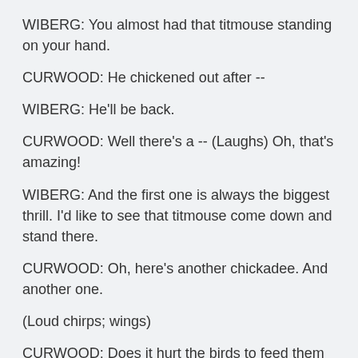WIBERG: You almost had that titmouse standing on your hand.
CURWOOD: He chickened out after --
WIBERG: He'll be back.
CURWOOD: Well there's a -- (Laughs) Oh, that's amazing!
WIBERG: And the first one is always the biggest thrill. I'd like to see that titmouse come down and stand there.
CURWOOD: Oh, here's another chickadee. And another one.
(Loud chirps; wings)
CURWOOD: Does it hurt the birds to feed them like this?
WIBERG: Hurt in what sense?
CURWOOD: What if they become dependent?